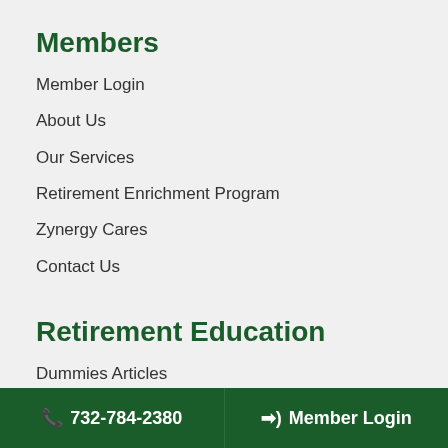Members
Member Login
About Us
Our Services
Retirement Enrichment Program
Zynergy Cares
Contact Us
Retirement Education
Dummies Articles
7 Deadly Retirement Sins
Zynergy Blog
Retirement Q & A
📞 732-784-2380   ➔) Member Login